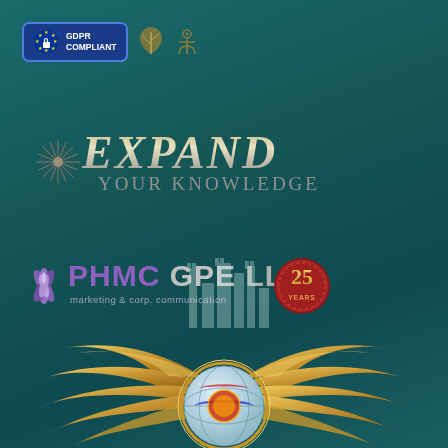[Figure (logo): GDPR Compliant badge with EU stars and lock icon, plus two small decorative icons (leaf and anchor)]
[Figure (logo): Expand Your Knowledge logo with starburst graphic and gradient text]
[Figure (logo): PHMC GPE LLC marketing & corp. communication logo with 25th anniversary badge]
[Figure (illustration): Large golden wings emblem with globe and Malaysian/US flag colors, castle silhouette in background]